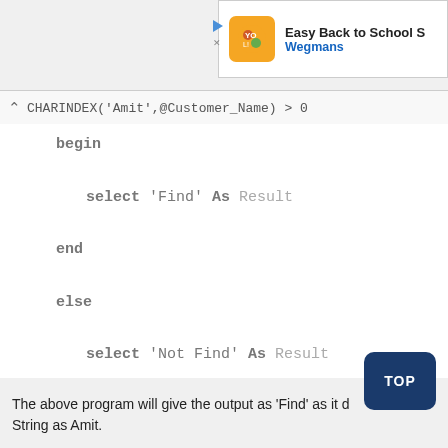[Figure (screenshot): Advertisement banner for Wegmans Easy Back to School S...]
CHARINDEX('Amit',@Customer_Name) > 0
begin
    select 'Find' As Result
end
else
    select 'Not Find' As Result
end;
The above program will give the output as 'Find' as it...d String as Amit.
[Figure (other): TOP button - dark blue rounded rectangle]